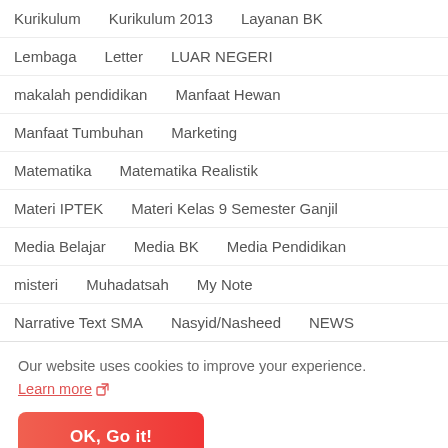Kurikulum
Kurikulum 2013
Layanan BK
Lembaga
Letter
LUAR NEGERI
makalah pendidikan
Manfaat Hewan
Manfaat Tumbuhan
Marketing
Matematika
Matematika Realistik
Materi IPTEK
Materi Kelas 9 Semester Ganjil
Media Belajar
Media BK
Media Pendidikan
misteri
Muhadatsah
My Note
Narrative Text SMA
Nasyid/Nasheed
NEWS
Our website uses cookies to improve your experience.
Learn more
OK, Go it!